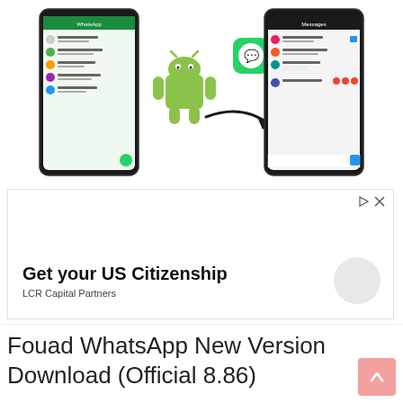[Figure (screenshot): Screenshot showing two smartphones with WhatsApp-like messaging interface and an Android mascot with WhatsApp icon and arrow between them, suggesting a transfer/migration feature.]
[Figure (screenshot): Advertisement box: 'Get your US Citizenship' by LCR Capital Partners with ad icons (play and close button) in top right corner.]
Fouad WhatsApp New Version Download (Official 8.86)